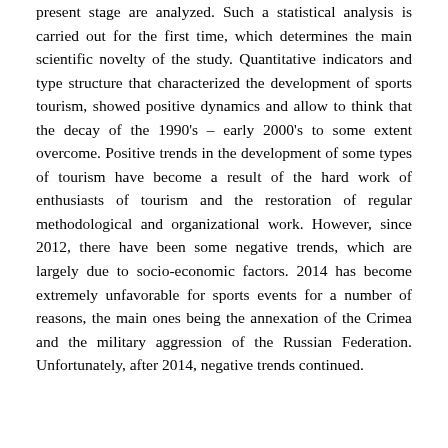present stage are analyzed. Such a statistical analysis is carried out for the first time, which determines the main scientific novelty of the study. Quantitative indicators and type structure that characterized the development of sports tourism, showed positive dynamics and allow to think that the decay of the 1990's – early 2000's to some extent overcome. Positive trends in the development of some types of tourism have become a result of the hard work of enthusiasts of tourism and the restoration of regular methodological and organizational work. However, since 2012, there have been some negative trends, which are largely due to socio-economic factors. 2014 has become extremely unfavorable for sports events for a number of reasons, the main ones being the annexation of the Crimea and the military aggression of the Russian Federation. Unfortunately, after 2014, negative trends continued.